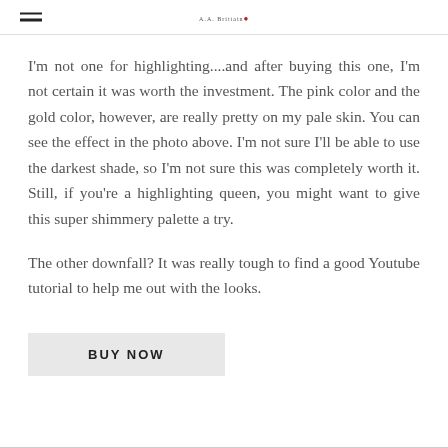I'm not one for highlighting....and after buying this one, I'm not certain it was worth the investment. The pink color and the gold color, however, are really pretty on my pale skin. You can see the effect in the photo above. I'm not sure I'll be able to use the darkest shade, so I'm not sure this was completely worth it. Still, if you're a highlighting queen, you might want to give this super shimmery palette a try.
The other downfall? It was really tough to find a good Youtube tutorial to help me out with the looks.
BUY NOW